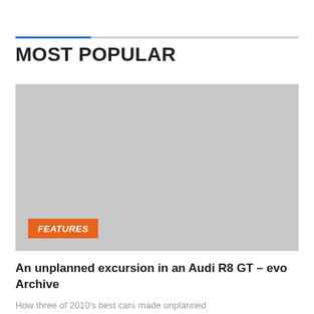MOST POPULAR
[Figure (photo): Gray placeholder image for article thumbnail]
FEATURES
An unplanned excursion in an Audi R8 GT – evo Archive
How three of 2010's best cars made unplanned